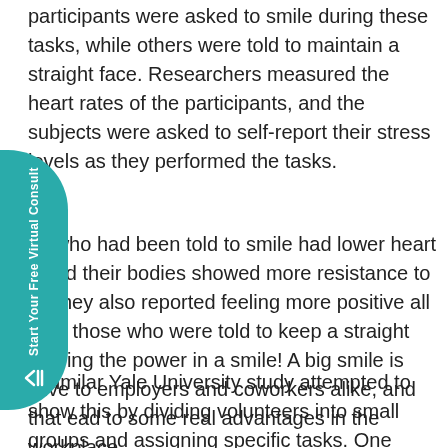participants were asked to smile during these tasks, while others were told to maintain a straight face. Researchers measured the heart rates of the participants, and the subjects were asked to self-report their stress levels as they performed the tasks.
se who had been told to smile had lower heart s and their bodies showed more resistance to s. They also reported feeling more positive all than those who were told to keep a straight proving the power in a smile! A big smile is ctive to employers and coworkers alike, and that ead to some real advantages in the workplace.
A similar Yale University study attempted to show this by dividing volunteers into small groups and assigning specific tasks. One team member was secretly instructed to act upbeat upon entering the